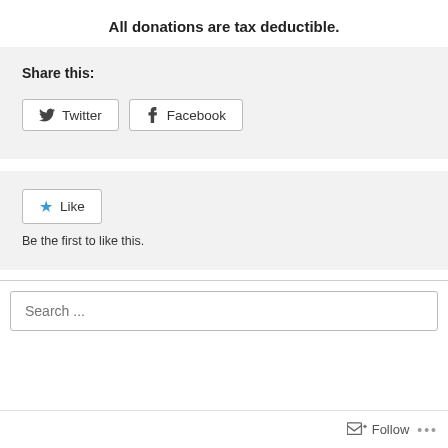All donations are tax deductible.
Share this:
[Figure (screenshot): Social share buttons: Twitter and Facebook]
[Figure (screenshot): Like button with star icon and text 'Be the first to like this.']
Be the first to like this.
Search ...
Follow ...